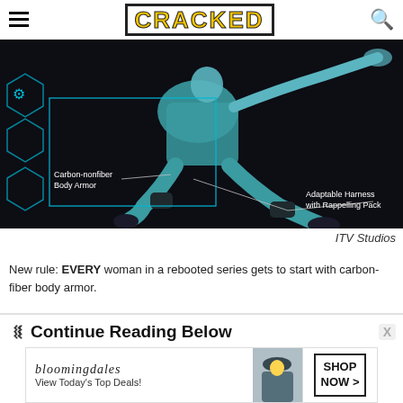CRACKED
[Figure (illustration): Screenshot from a rebooted TV series showing a woman in a teal/blue bodysuit with carbon-nonfiber body armor and an adaptable harness with rappelling pack, with callout labels on a dark background.]
ITV Studios
New rule: EVERY woman in a rebooted series gets to start with carbon-fiber body armor.
Continue Reading Below
[Figure (screenshot): Bloomingdale's advertisement: 'bloomingdales View Today's Top Deals!' with an image of a woman in a hat and a SHOP NOW > button.]